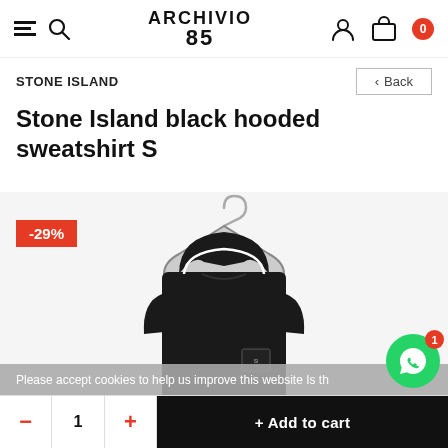ARCHIVIO 85 — Navigation header with menu, search, account, cart (0)
STONE ISLAND
Back
Stone Island black hooded sweatshirt S
-29%
[Figure (photo): A black Stone Island hooded sweatshirt hanging on a metal hanger against a white background. The sweatshirt features the Stone Island logo patch on the sleeve and a white stripe along the hood.]
Please accept cookies to help us improve this website Is th
- 1 + Add to cart